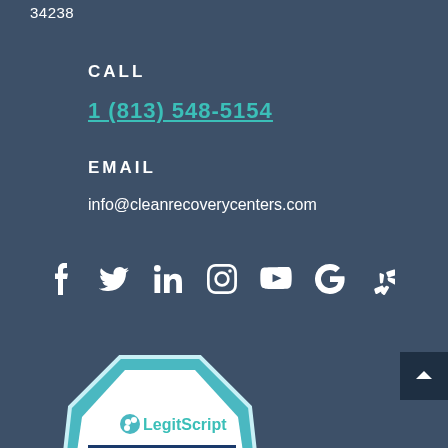34238
CALL
1 (813) 548-5154
EMAIL
info@cleanrecoverycenters.com
[Figure (other): Social media icons row: Facebook, Twitter, LinkedIn, Instagram, YouTube, Google, Yelp]
[Figure (other): LegitScript certified badge for CLEANRECOVERYCENTERS.COM dated 08/22/22]
[Figure (other): Back to top button with upward caret arrow]